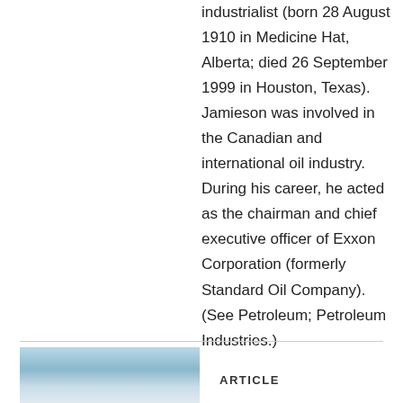industrialist (born 28 August 1910 in Medicine Hat, Alberta; died 26 September 1999 in Houston, Texas). Jamieson was involved in the Canadian and international oil industry. During his career, he acted as the chairman and chief executive officer of Exxon Corporation (formerly Standard Oil Company). (See Petroleum; Petroleum Industries.)
[Figure (photo): Partial image of a landscape or water scene visible at the bottom left of the page, with blue/grey tones.]
ARTICLE